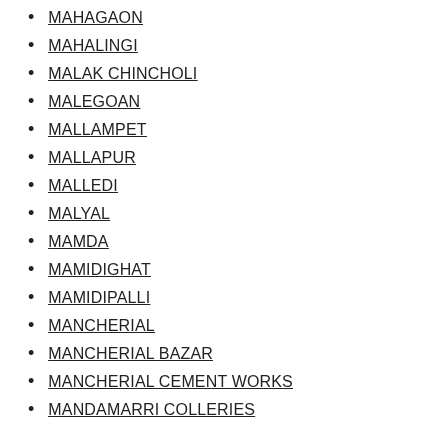MAHAGAON
MAHALINGI
MALAK CHINCHOLI
MALEGOAN
MALLAMPET
MALLAPUR
MALLEDI
MALYAL
MAMDA
MAMIDIGHAT
MAMIDIPALLI
MANCHERIAL
MANCHERIAL BAZAR
MANCHERIAL CEMENT WORKS
MANDAMARRI COLLERIES